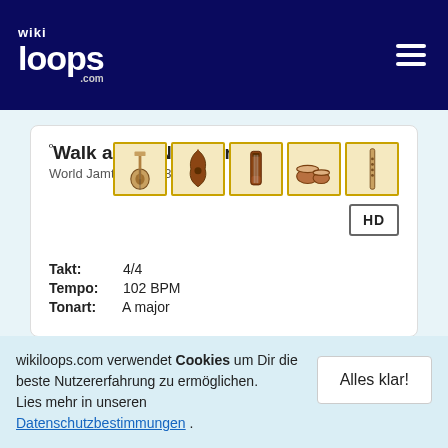wikiloops.com
ºWalk along Neisse river
World Jamtrack #193690
[Figure (photo): Five instrument icons: acoustic guitar, violin, bass guitar, bongo drums, flute]
HD
Takt: 4/4
Tempo: 102 BPM
Tonart: A major
1 2 3 4 5 >
wikiloops.com verwendet Cookies um Dir die beste Nutzererfahrung zu ermöglichen.
Lies mehr in unseren Datenschutzbestimmungen .